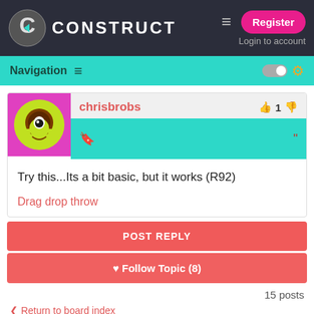CONSTRUCT — Register — Login to account — Navigation
chrisbrobs
Try this...Its a bit basic, but it works (R92)
Drag drop throw
POST REPLY
♥ Follow Topic (8)
15 posts
< Return to board index
Jump to: How do I....?